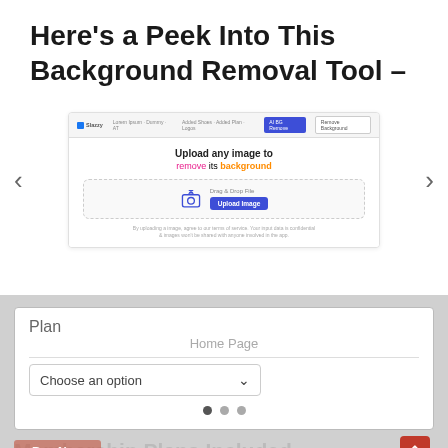Here's a Peek Into This Background Removal Tool –
[Figure (screenshot): Screenshot of a background removal tool web interface showing upload area with text 'Upload any image to remove its background' and an upload button]
Plan
Home Page
Choose an option
Membership Plans Included –
Buy Now